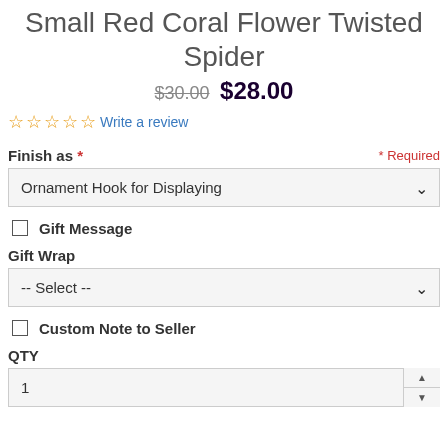Small Red Coral Flower Twisted Spider
$30.00  $28.00
☆☆☆☆☆ Write a review
Finish as * * Required
Ornament Hook for Displaying
Gift Message
Gift Wrap
-- Select --
Custom Note to Seller
QTY
1